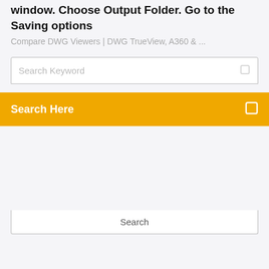window. Choose Output Folder. Go to the Saving options
Compare DWG Viewers | DWG TrueView, A360 & ...
Search Keyword
Search Here
Search
Category
Windows 7 performance monitor cpu temperature